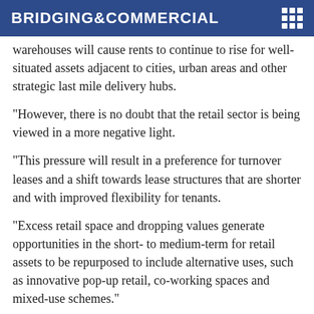BRIDGING&COMMERCIAL
warehouses will cause rents to continue to rise for well-situated assets adjacent to cities, urban areas and other strategic last mile delivery hubs.
“However, there is no doubt that the retail sector is being viewed in a more negative light.
“This pressure will result in a preference for turnover leases and a shift towards lease structures that are shorter and with improved flexibility for tenants.
“Excess retail space and dropping values generate opportunities in the short- to medium-term for retail assets to be repurposed to include alternative uses, such as innovative pop-up retail, co-working spaces and mixed-use schemes.”
Paul added: “Shifts across both the borrowing and lending landscape due to Covid have meant we’ve had to find creative solutions to adapt to facing situations...